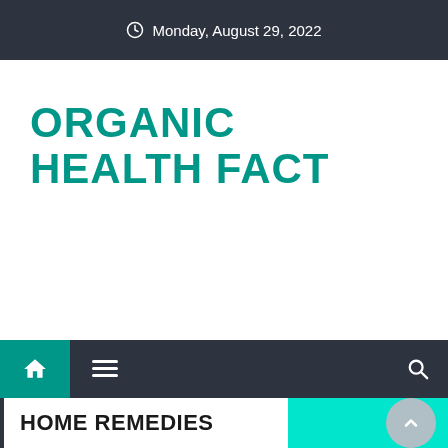Monday, August 29, 2022
ORGANIC HEALTH FACT
HOME REMEDIES